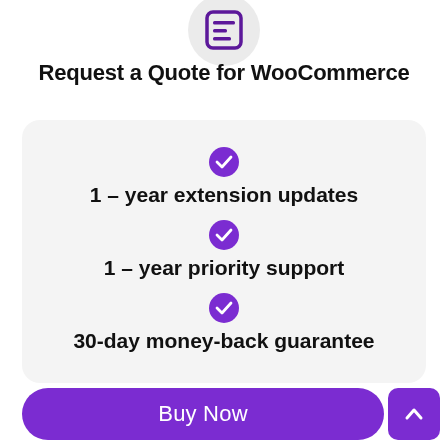[Figure (illustration): Purple document/list icon inside a light gray circle at the top center of the page]
Request a Quote for WooCommerce
1 - year extension updates
1 - year priority support
30-day money-back guarantee
[Figure (other): Buy Now purple pill button at the bottom]